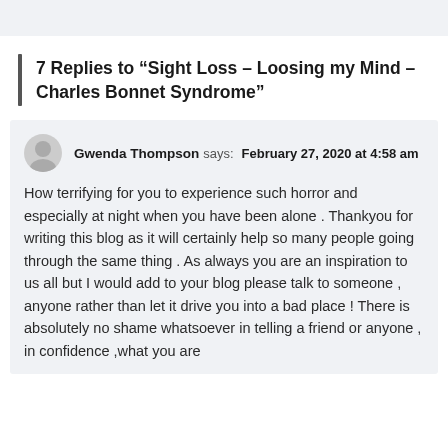7 Replies to “Sight Loss – Loosing my Mind – Charles Bonnet Syndrome”
Gwenda Thompson says: February 27, 2020 at 4:58 am

How terrifying for you to experience such horror and especially at night when you have been alone . Thankyou for writing this blog as it will certainly help so many people going through the same thing . As always you are an inspiration to us all but I would add to your blog please talk to someone , anyone rather than let it drive you into a bad place ! There is absolutely no shame whatsoever in telling a friend or anyone , in confidence ,what you are